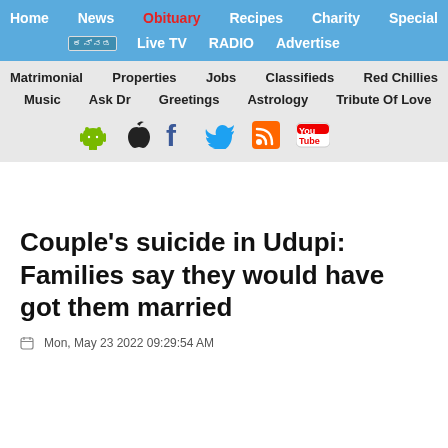Home | News | Obituary | Recipes | Charity | Special | [lang] | Live TV | RADIO | Advertise | Matrimonial | Properties | Jobs | Classifieds | Red Chillies | Music | Ask Dr | Greetings | Astrology | Tribute Of Love
Couple's suicide in Udupi: Families say they would have got them married
Mon, May 23 2022 09:29:54 AM